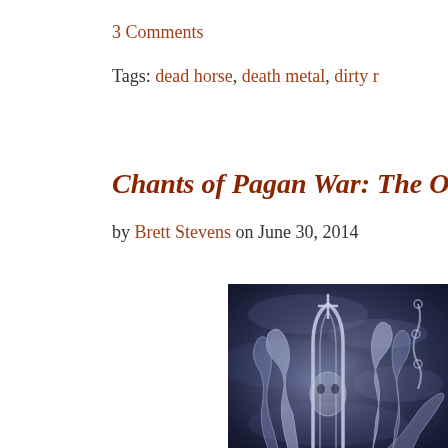3 Comments
Tags: dead horse, death metal, dirty r
Chants of Pagan War: The Off
by Brett Stevens on June 30, 2014
[Figure (photo): Dark fantasy/metal artwork showing skeletal or gothic architectural forms and creature-like shapes in smoky blue-grey tones]